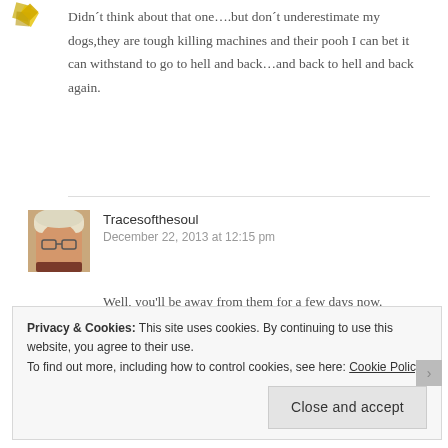[Figure (photo): Small avatar icon, yellow/orange geometric pattern, top left]
Didn´t think about that one….but don´t underestimate my dogs,they are tough killing machines and their pooh I can bet it can withstand to go to hell and back…and back to hell and back again.
[Figure (photo): Photo of a woman with glasses and light hair]
Tracesofthesoul
December 22, 2013 at 12:15 pm
Well, you'll be away from them for a few days now.
Privacy & Cookies: This site uses cookies. By continuing to use this website, you agree to their use.
To find out more, including how to control cookies, see here: Cookie Policy
Close and accept